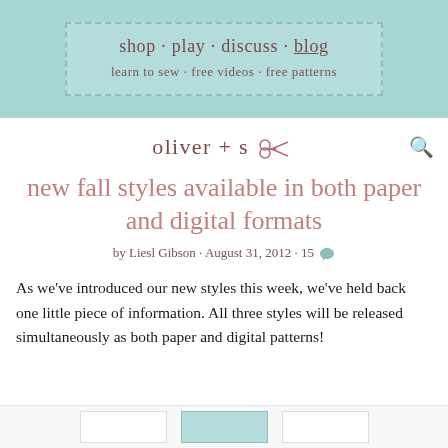shop · play · discuss · blog
learn to sew · free videos · free patterns
oliver + s
new fall styles available in both paper and digital formats
by Liesl Gibson · August 31, 2012 · 15
As we've introduced our new styles this week, we've held back one little piece of information. All three styles will be released simultaneously as both paper and digital patterns!